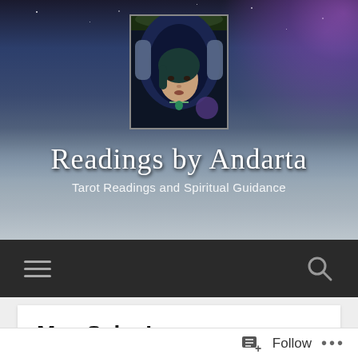[Figure (screenshot): Website header banner with dark starry night sky and snowy mountain landscape background. A profile photo of a woman with dark hair wearing a blue/black hood is centered at the top. Below reads 'Readings by Andarta' in white cursive script and 'Tarot Readings and Spiritual Guidance' in smaller white text.]
Readings by Andarta
Tarot Readings and Spiritual Guidance
[Figure (screenshot): Dark navigation bar with hamburger menu icon on the left and search (magnifying glass) icon on the right]
May Sales!
Follow ...